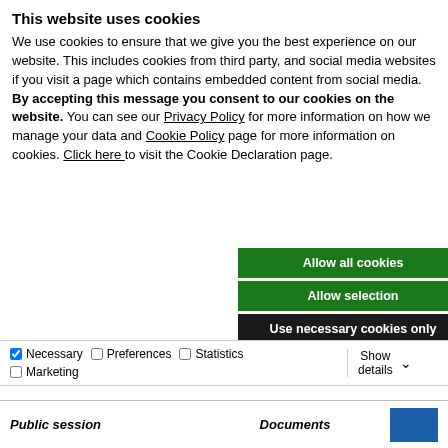This website uses cookies
We use cookies to ensure that we give you the best experience on our website. This includes cookies from third party, and social media websites if you visit a page which contains embedded content from social media. By accepting this message you consent to our cookies on the website. You can see our Privacy Policy for more information on how we manage your data and Cookie Policy page for more information on cookies. Click here to visit the Cookie Declaration page.
Allow all cookies
Allow selection
Use necessary cookies only
Necessary  Preferences  Statistics  Marketing  Show details
Public session  Documents